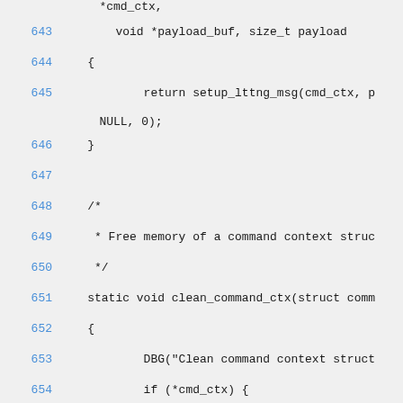*cmd_ctx,
643        void *payload_buf, size_t payload
644    {
645            return setup_lttng_msg(cmd_ctx, p
        NULL, 0);
646    }
647
648    /*
649     * Free memory of a command context struc
650     */
651    static void clean_command_ctx(struct comm
652    {
653            DBG("Clean command context struct
654            if (*cmd_ctx) {
655                    if ((*cmd_ctx)->llm) {
656                            free((*cmd_ctx)->